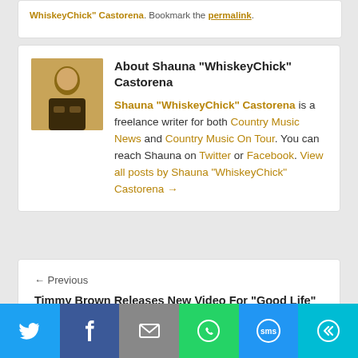WhiskeyChick Castorena. Bookmark the permalink.
About Shauna "WhiskeyChick" Castorena
Shauna "WhiskeyChick" Castorena is a freelance writer for both Country Music News and Country Music On Tour. You can reach Shauna on Twitter or Facebook. View all posts by Shauna "WhiskeyChick" Castorena →
← Previous
Timmy Brown Releases New Video For “Good Life”
Next →